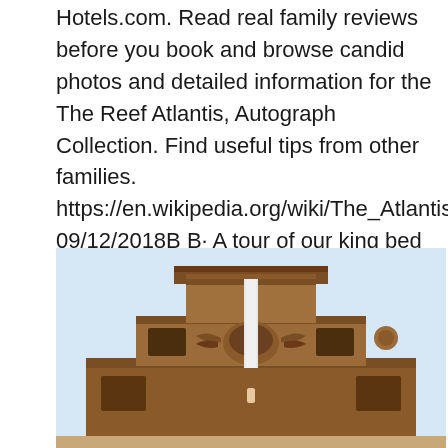Hotels.com. Read real family reviews before you book and browse candid photos and detailed information for the The Reef Atlantis, Autograph Collection. Find useful tips from other families. https://en.wikipedia.org/wiki/The_Atlantis_Resort 09/12/2018B B· A tour of our king bed oceanview room in the Beach Tower at Atlantis Resort, Room 6264. We had a fantastic view over the stingrays, pools and beach! Read all....
[Figure (photo): Photograph of the Atlantis Resort building facade — a reddish-brown Mayan/Aztec-style stone structure with tiered architecture, decorative carvings including a face/mask motif, and a water slide visible in the center. Blue sky in background.]